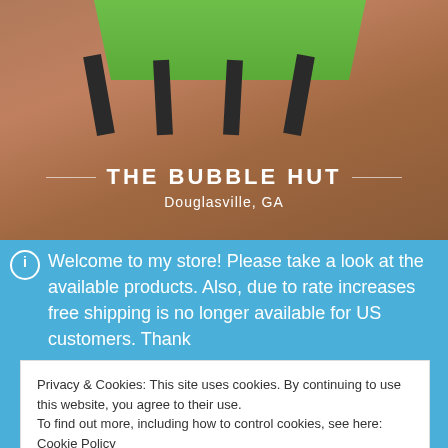[Figure (photo): Store banner photo showing green chairs with black metal legs on a warm brown/orange floor. Overlay text reads THE BUBBLE HUT / Douglasville, GA in white centered text with decorative lines.]
THE BUBBLE HUT
Douglasville, GA
Welcome to my store! Please take a look at the available products. Also, due to rate increases free shipping is no longer available for US customers. Thank
Privacy & Cookies: This site uses cookies. By continuing to use this website, you agree to their use. To find out more, including how to control cookies, see here: Cookie Policy
Close and accept